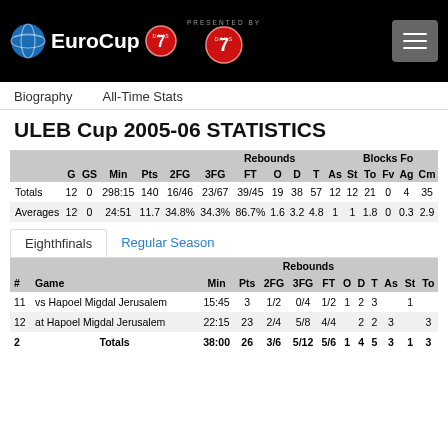EuroCup 7DAYS — presented by 7DAYS
Biography    All-Time Stats
ULEB Cup 2005-06 STATISTICS
|  | G | GS | Min | Pts | 2FG | 3FG | FT | O | D | T | As | St | To | Fv | Ag | Cm |
| --- | --- | --- | --- | --- | --- | --- | --- | --- | --- | --- | --- | --- | --- | --- | --- | --- |
| Totals | 12 | 0 | 298:15 | 140 | 16/46 | 23/67 | 39/45 | 19 | 38 | 57 | 12 | 12 | 21 | 0 | 4 | 35 |
| Averages | 12 | 0 | 24:51 | 11.7 | 34.8% | 34.3% | 86.7% | 1.6 | 3.2 | 4.8 | 1 | 1 | 1.8 | 0 | 0.3 | 2.9 |
Eighthfinals    Regular Season
| # | Game | Min | Pts | 2FG | 3FG | FT | O | D | T | As | St | To |
| --- | --- | --- | --- | --- | --- | --- | --- | --- | --- | --- | --- | --- |
| 11 | vs Hapoel Migdal Jerusalem | 15:45 | 3 | 1/2 | 0/4 | 1/2 | 1 | 2 | 3 |  | 1 |  |
| 12 | at Hapoel Migdal Jerusalem | 22:15 | 23 | 2/4 | 5/8 | 4/4 |  | 2 | 2 | 3 |  | 3 |
| 2 | Totals | 38:00 | 26 | 3/6 | 5/12 | 5/6 | 1 | 4 | 5 | 3 | 1 | 3 |